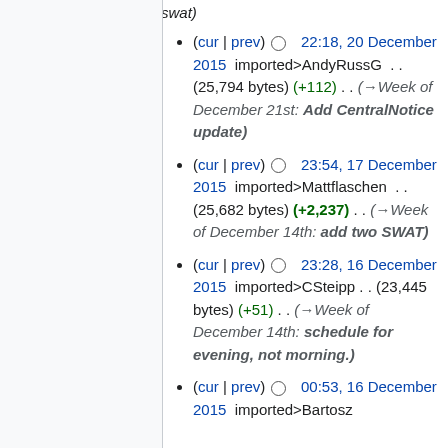swat)
(cur | prev) ○  22:18, 20 December 2015  imported>AndyRussG . . (25,794 bytes) (+112) . . (→Week of December 21st: Add CentralNotice update)
(cur | prev) ○  23:54, 17 December 2015  imported>Mattflaschen . . (25,682 bytes) (+2,237) . . (→Week of December 14th: add two SWAT)
(cur | prev) ○  23:28, 16 December 2015  imported>CSteipp . . (23,445 bytes) (+51) . . (→Week of December 14th: schedule for evening, not morning.)
(cur | prev) ○  00:53, 16 December 2015  imported>Bartosz